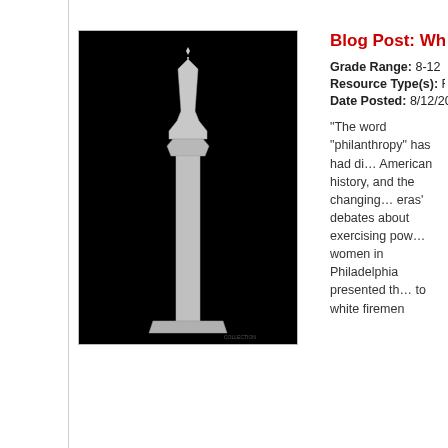[Figure (photo): Black background photograph of a tall narrow silver trophy or vase]
Blog Post: What is Philan...
Grade Range: 8-12
Resource Type(s): Reference Mate...
Date Posted: 8/12/2021
“The word “philanthropy” has had di... American history, and the changing... eras’ debates about exercising pow... women in Philadelphia presented th... to white firemen
[Figure (photo): Poster for Chinatown Street Fair with Chinese characters and illustration of children]
Blog Post: Bringing Healt...
Grade Range: 8-12
Resource Type(s): Reference Mate...
Date Posted: 8/12/2021
““Bring the exam room to the comm... behind a 1971 effort led by Dr. Thor... New York City’s Lower Manhattan C... the street, the first Chinatown healt... booths, with mater
Blog Post: How Evelyn La...